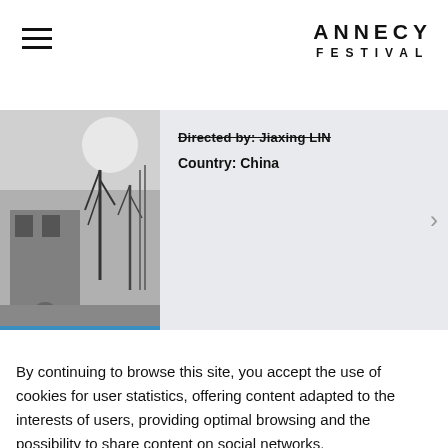ANNECY FESTIVAL
[Figure (photo): Black and white film still showing a building with bare trees]
Directed by: Jiaxing LIN
Country: China
Anime assistants
By continuing to browse this site, you accept the use of cookies for user statistics, offering content adapted to the interests of users, providing optimal browsing and the possibility to share content on social networks.
I accept! 🍪
Tell me more